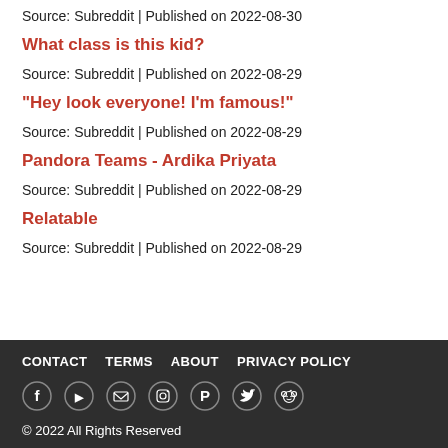Source: Subreddit | Published on 2022-08-30
What class is this kid?
Source: Subreddit | Published on 2022-08-29
"Hey look everyone! I'm famous!"
Source: Subreddit | Published on 2022-08-29
Pandora Teams - Ardika Priyata
Source: Subreddit | Published on 2022-08-29
Relatable
Source: Subreddit | Published on 2022-08-29
CONTACT   TERMS   ABOUT   PRIVACY POLICY
[Social icons: Facebook, YouTube, Email, Instagram, Pinterest, Twitter, Reddit]
© 2022 All Rights Reserved